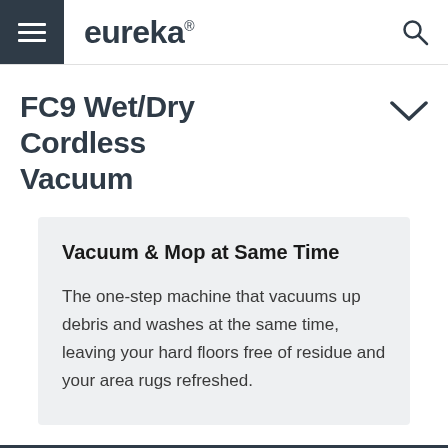eureka®
FC9 Wet/Dry Cordless Vacuum
Vacuum & Mop at Same Time
The one-step machine that vacuums up debris and washes at the same time, leaving your hard floors free of residue and your area rugs refreshed.